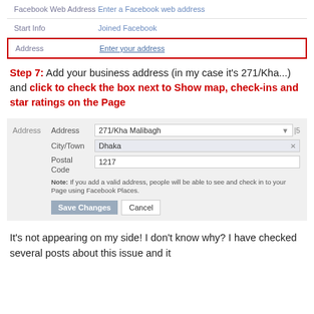| Field | Value |
| --- | --- |
| Facebook Web Address | Enter a Facebook web address |
| Start Info | Joined Facebook |
| Address | Enter your address |
Step 7: Add your business address (in my case it's 271/Kha...) and click to check the box next to Show map, check-ins and star ratings on the Page
[Figure (screenshot): Facebook page address form showing fields: Address (271/Kha Malibagh), City/Town (Dhaka), Postal Code (1217), with a note about Facebook Places and Save Changes / Cancel buttons.]
It's not appearing on my side! I don't know why? I have checked several posts about this issue and it